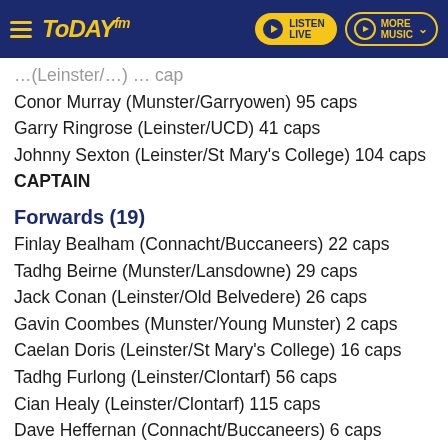Today FM - Listen Live / More Music
... (Leinster/...) ... cap
Conor Murray (Munster/Garryowen) 95 caps
Garry Ringrose (Leinster/UCD) 41 caps
Johnny Sexton (Leinster/St Mary's College) 104 caps CAPTAIN
Forwards (19)
Finlay Bealham (Connacht/Buccaneers) 22 caps
Tadhg Beirne (Munster/Lansdowne) 29 caps
Jack Conan (Leinster/Old Belvedere) 26 caps
Gavin Coombes (Munster/Young Munster) 2 caps
Caelan Doris (Leinster/St Mary's College) 16 caps
Tadhg Furlong (Leinster/Clontarf) 56 caps
Cian Healy (Leinster/Clontarf) 115 caps
Dave Heffernan (Connacht/Buccaneers) 6 caps
Iain Henderson (Ulster/Academy) 67 caps
Rob Herring (Ulster/Ballynahinch) 25 caps
... (Munster/...) 47...